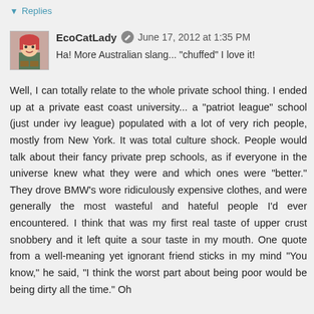▼ Replies
EcoCatLady   June 17, 2012 at 1:35 PM
Ha! More Australian slang... "chuffed" I love it!
Well, I can totally relate to the whole private school thing. I ended up at a private east coast university... a "patriot league" school (just under ivy league) populated with a lot of very rich people, mostly from New York. It was total culture shock. People would talk about their fancy private prep schools, as if everyone in the universe knew what they were and which ones were "better." They drove BMW's wore ridiculously expensive clothes, and were generally the most wasteful and hateful people I'd ever encountered. I think that was my first real taste of upper crust snobbery and it left quite a sour taste in my mouth. One quote from a well-meaning yet ignorant friend sticks in my mind "You know," he said, "I think the worst part about being poor would be being dirty all the time." Oh